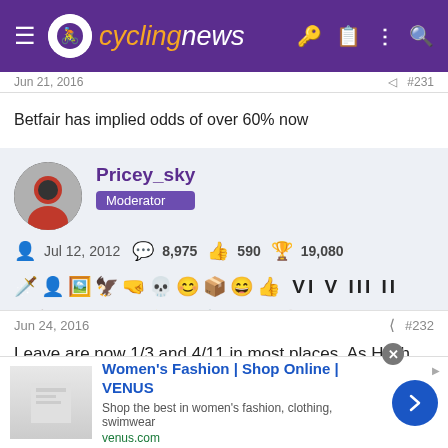cyclingnews
Betfair has implied odds of over 60% now
Pricey_sky — Moderator — Jul 12, 2012 — 8,975 posts — 590 likes — 19,080 trophy points
Jun 24, 2016  #232
Leave are now 1/3 and 4/11 in most places. As Hitch said, only London can save Remain now...
[Figure (screenshot): Ad banner: Women's Fashion | Shop Online | VENUS — Shop the best in women's fashion, clothing, swimwear — venus.com]